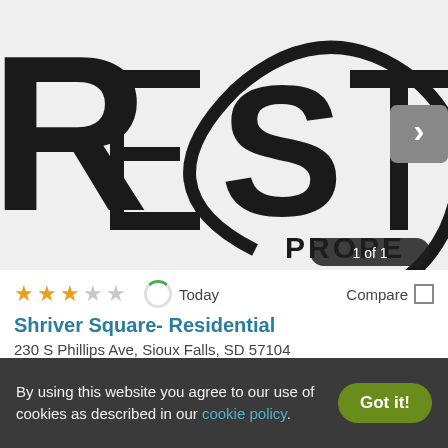[Figure (logo): Partial view of a real estate company logo with letters R, E, S, T visible and word PROPE partially visible, with a circular design element and a gray arrow navigation button]
1 of 1
★★★☆☆  Today  Compare
Shriver Square- Residential
230 S Phillips Ave, Sioux Falls, SD 57104
✓ 10 Units available   ✓ Verified
1 BED
$1,450+   2 BEDS
$1,625+
By using this website you agree to our use of cookies as described in our cookie policy.